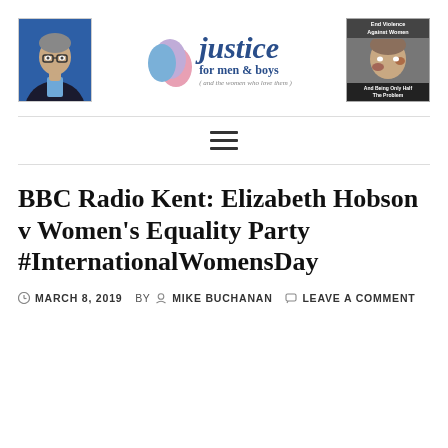[Figure (logo): Justice for Men and Boys website header with person photo on left, logo in center, and anti-domestic-violence image on right]
BBC Radio Kent: Elizabeth Hobson v Women's Equality Party #InternationalWomensDay
MARCH 8, 2019   BY  MIKE BUCHANAN   LEAVE A COMMENT